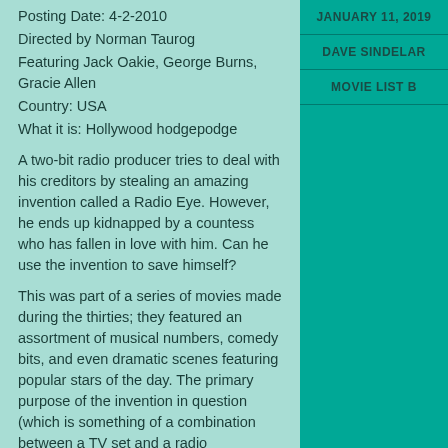Posting Date: 4-2-2010
Directed by Norman Taurog
Featuring Jack Oakie, George Burns, Gracie Allen
Country: USA
What it is: Hollywood hodgepodge
A two-bit radio producer tries to deal with his creditors by stealing an amazing invention called a Radio Eye. However, he ends up kidnapped by a countess who has fallen in love with him. Can he use the invention to save himself?
This was part of a series of movies made during the thirties; they featured an assortment of musical numbers, comedy bits, and even dramatic scenes featuring popular stars of the day. The primary purpose of the invention in question (which is something of a combination between a TV set and a radio transmitter) is to provide a conduit for the various acts while the producer is trapped on an island. The plot is pretty negligible (as
JANUARY 11, 2019
DAVE SINDELAR
MOVIE LIST B